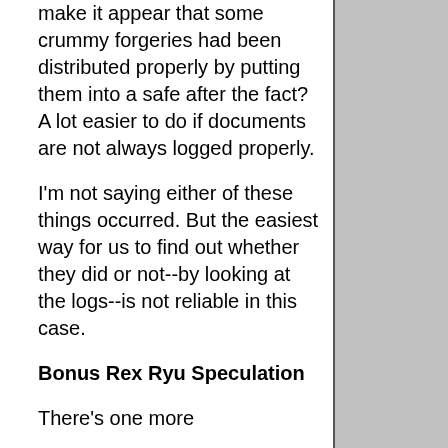make it appear that some crummy forgeries had been distributed properly by putting them into a safe after the fact? A lot easier to do if documents are not always logged properly.
I'm not saying either of these things occurred. But the easiest way for us to find out whether they did or not--by looking at the logs--is not reliable in this case.
Bonus Rex Ryu Speculation
There's one more